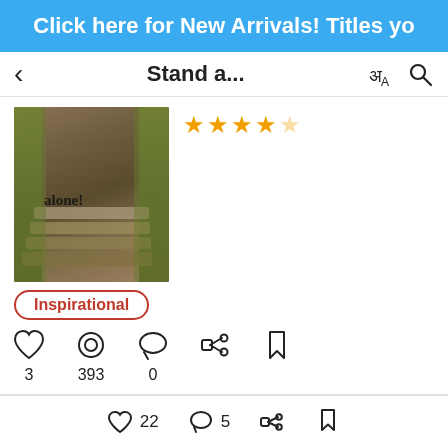Click here for New Arrivals! Titles yo
Stand a...
[Figure (photo): Book cover showing stone steps with grass on sides and text 'alone!' overlaid]
★★★★☆ (4.5 star rating)
Inspirational
3 likes  393 views  0 comments
Sheeba Vinav
22 likes  5 comments  share  bookmark